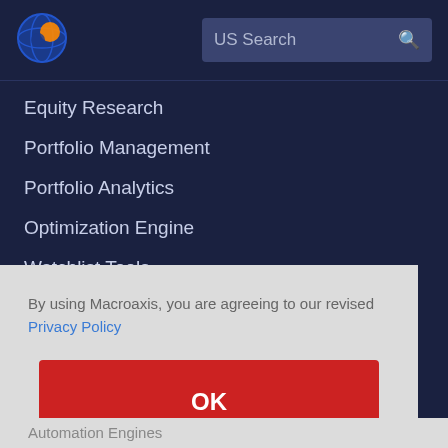[Figure (logo): Macroaxis globe logo - circular icon with orange and blue design]
US Search
Equity Research
Portfolio Management
Portfolio Analytics
Optimization Engine
Watchlist Tools
Portfolio Rebalancing (partial)
By using Macroaxis, you are agreeing to our revised Privacy Policy
OK
(partial text cut off at bottom)